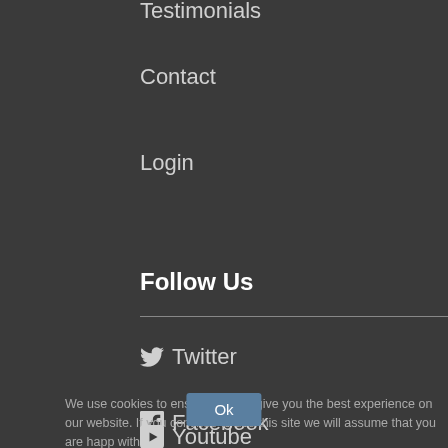Testimonials
Contact
Login
Follow Us
Twitter
Facebook
Youtube
We use cookies to ensure that we give you the best experience on our website. If you continue to use this site we will assume that you are happy with it.